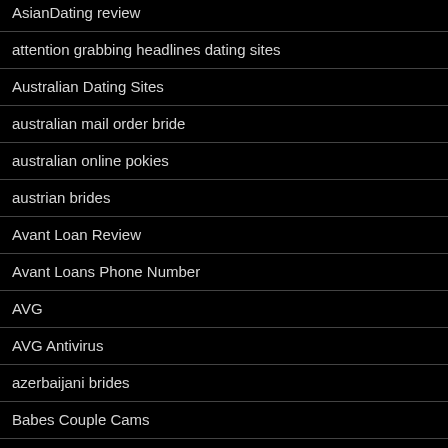AsianDating review
attention grabbing headlines dating sites
Australian Dating Sites
australian mail order bride
australian online pokies
austrian brides
Avant Loan Review
Avant Loans Phone Number
AVG
AVG Antivirus
azerbaijani brides
Babes Couple Cams
Bad Car Credit Faq's